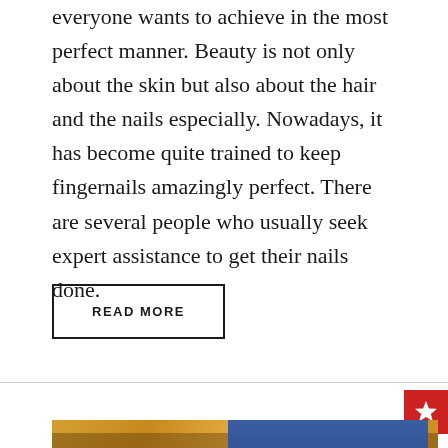everyone wants to achieve in the most perfect manner. Beauty is not only about the skin but also about the hair and the nails especially. Nowadays, it has become quite trained to keep fingernails amazingly perfect. There are several people who usually seek expert assistance to get their nails done.
READ MORE
[Figure (photo): A composite image showing a black slip-on sneaker/shoe on the left side and a smiling young woman wearing white headphones on the right side, with an autumn orange-yellow foliage background.]